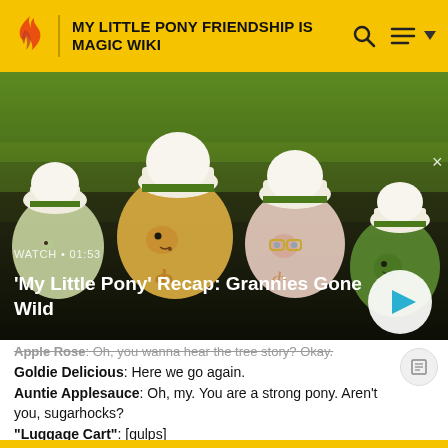MY LITTLE PONY FRIENDSHIP IS MAGIC WIKI
[Figure (screenshot): Animated screenshot from My Little Pony showing four pony characters wearing chef hats, with video overlay showing title 'My Little Pony' Recap: Grannies Gone Wild and WATCH • 01:53 label with a play button]
'My Little Pony' Recap: Grannies Gone Wild
Apple Rose: Oh, you wanna hear the tree story? Okay.
Goldie Delicious: Here we go again.
Auntie Applesauce: Oh, my. You are a strong pony. Aren't you, sugarhocks?
"Luggage Cart": [gulps]
Auntie Applesauce: I think he was sweet on me. Maybe I